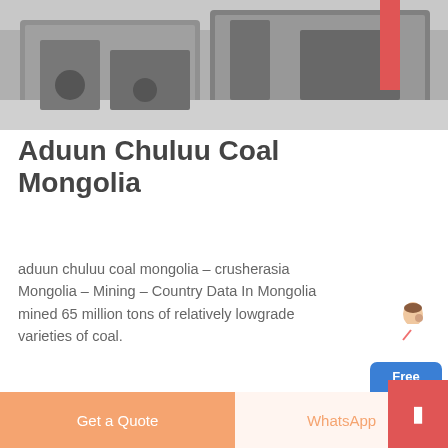[Figure (photo): Industrial machinery/equipment photo at the top of the page]
Aduun Chuluu Coal Mongolia
aduun chuluu coal mongolia – crusherasia Mongolia – Mining – Country Data In Mongolia mined 65 million tons of relatively lowgrade varieties of coal.
[Figure (photo): Industrial warehouse/factory interior photo at the bottom of the page]
[Figure (other): Free chat widget with customer service representative figure and blue button labeled 'Free chat']